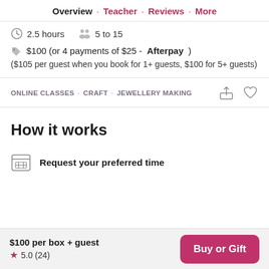Overview · Teacher · Reviews · More
2.5 hours   5 to 15
$100 (or 4 payments of $25 - Afterpay)
($105 per guest when you book for 1+ guests, $100 for 5+ guests)
ONLINE CLASSES · CRAFT · JEWELLERY MAKING
How it works
Request your preferred time
$100 per box + guest
★ 5.0 (24)